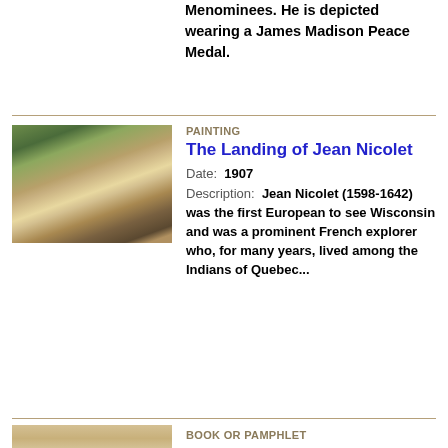Menominees. He is depicted wearing a James Madison Peace Medal.
[Figure (illustration): Painting depicting the landing of Jean Nicolet, showing a European explorer arriving among Native Americans near a shoreline with trees and a tall structure in the background.]
PAINTING
The Landing of Jean Nicolet
Date: 1907
Description: Jean Nicolet (1598-1642) was the first European to see Wisconsin and was a prominent French explorer who, for many years, lived among the Indians of Quebec...
[Figure (illustration): Cover or page of a book or pamphlet, shown in tan/beige tones.]
BOOK OR PAMPHLET